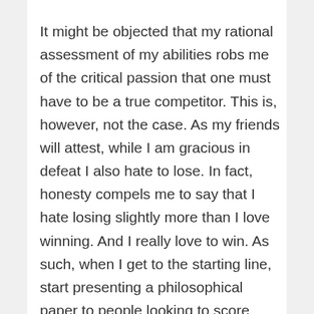It might be objected that my rational assessment of my abilities robs me of the critical passion that one must have to be a true competitor. This is, however, not the case. As my friends will attest, while I am gracious in defeat I also hate to lose. In fact, honesty compels me to say that I hate losing slightly more than I love winning. And I really love to win. As such, when I get to the starting line, start presenting a philosophical paper to people looking to score philosophical pissing points, or join a competitive video game I am there to win and to make others lose. But, victory often